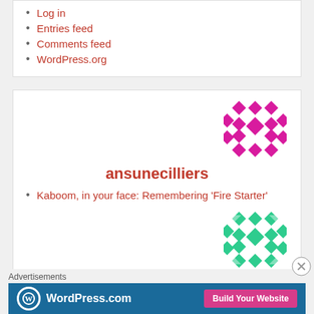Log in
Entries feed
Comments feed
WordPress.org
[Figure (illustration): Magenta decorative geometric/diamond pattern avatar for ansunecilliers]
ansunecilliers
Kaboom, in your face: Remembering ‘Fire Starter’
[Figure (illustration): Teal/green decorative geometric pattern avatar for Gillian Rennie]
Gillian Rennie
Advertisements
[Figure (screenshot): WordPress.com advertisement banner with Build Your Website button]